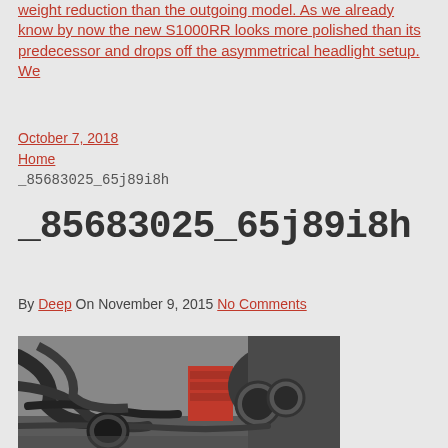weight reduction than the outgoing model. As we already know by now the new S1000RR looks more polished than its predecessor and drops off the asymmetrical headlight setup. We
October 7, 2018
Home
_85683025_65j89i8h
_85683025_65j89i8h
By Deep On November 9, 2015 No Comments
[Figure (photo): Close-up photo of motorcycle exhaust pipes and hoses in a garage/workshop setting, with red tool cabinet visible in background]